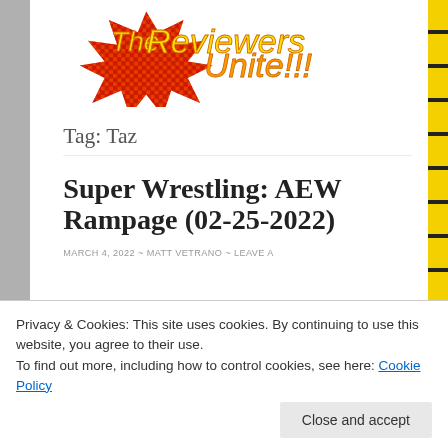[Figure (logo): The Reviewers Unite!!! logo — red starburst shape with yellow and orange text on a checkered red/orange background]
Tag: Taz
Super Wrestling: AEW Rampage (02-25-2022)
MARCH 4, 2022 ~ MATT VETRANO ~ LEAVE A
Privacy & Cookies: This site uses cookies. By continuing to use this website, you agree to their use.
To find out more, including how to control cookies, see here: Cookie Policy
Close and accept